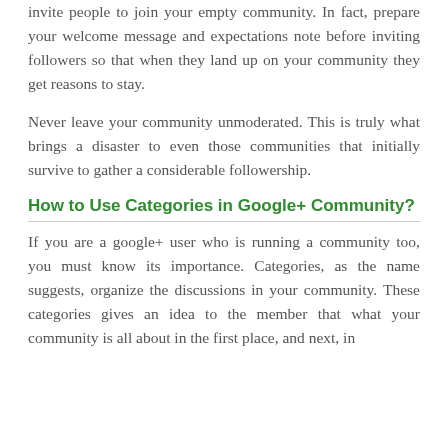invite people to join your empty community. In fact, prepare your welcome message and expectations note before inviting followers so that when they land up on your community they get reasons to stay.
Never leave your community unmoderated. This is truly what brings a disaster to even those communities that initially survive to gather a considerable followership.
How to Use Categories in Google+ Community?
If you are a google+ user who is running a community too, you must know its importance. Categories, as the name suggests, organize the discussions in your community. These categories gives an idea to the member that what your community is all about in the first place, and next, in